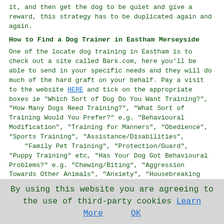it, and then get the dog to be quiet and give a reward, this strategy has to be duplicated again and again.
How to Find a Dog Trainer in Eastham Merseyside
One of the locate dog training in Eastham is to check out a site called Bark.com, here you'll be able to send in your specific needs and they will do much of the hard graft on your behalf. Pay a visit to the website HERE and tick on the appropriate boxes ie "Which Sort of Dog Do You Want Training?", "How Many Dogs Need Training?", "What Sort of Training Would You Prefer?" e.g. "Behavioural Modification", "Training for Manners", "Obedience", "Sports Training", "Assistance/Disabilities", "Family Pet Training", "Protection/Guard", "Puppy Training" etc, "Has Your Dog Got Behavioural Problems?" e.g. "Chewing/Biting", "Aggression Towards Other Animals", "Anxiety", "Housebreaking Issues", "Howling/Barking", "Pulling Lead or Restraints", "Aggression Towards Humans", "Fearfulness", "Jumping Up" etc, "What is the Age of Your Dog?" etc. You then just submit this form and wait for replies from appropriate dog trainers in the Eastham neighbourhood. Other decent methods for discovering
By using this website you are agreeing to the use of third-party cookies Learn More OK